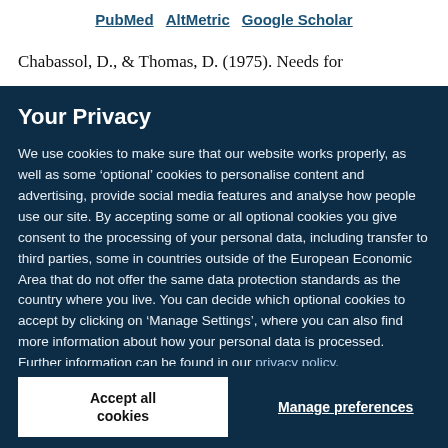PubMed  AltMetric  Google Scholar
Chabassol, D., & Thomas, D. (1975). Needs for
Your Privacy
We use cookies to make sure that our website works properly, as well as some ‘optional’ cookies to personalise content and advertising, provide social media features and analyse how people use our site. By accepting some or all optional cookies you give consent to the processing of your personal data, including transfer to third parties, some in countries outside of the European Economic Area that do not offer the same data protection standards as the country where you live. You can decide which optional cookies to accept by clicking on ‘Manage Settings’, where you can also find more information about how your personal data is processed. Further information can be found in our privacy policy.
Accept all cookies
Manage preferences